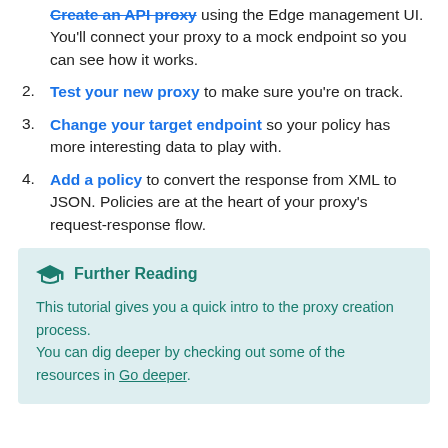1. Create an API proxy using the Edge management UI. You'll connect your proxy to a mock endpoint so you can see how it works.
2. Test your new proxy to make sure you're on track.
3. Change your target endpoint so your policy has more interesting data to play with.
4. Add a policy to convert the response from XML to JSON. Policies are at the heart of your proxy's request-response flow.
Further Reading
This tutorial gives you a quick intro to the proxy creation process.
You can dig deeper by checking out some of the resources in Go deeper.